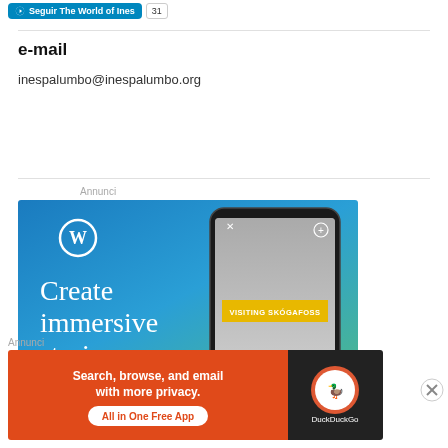Seguir The World of Ines | 31
e-mail
inespalumbo@inespalumbo.org
Annunci
[Figure (photo): WordPress advertisement banner with blue-green gradient background. WordPress logo (W in circle) top left. Large white serif text reads 'Create immersive stories.' on the left. Right side shows a phone mockup displaying a waterfall photo with a yellow banner reading 'VISITING SKÓGAFOSS'.]
Annunci
[Figure (photo): DuckDuckGo advertisement banner. Orange-red background on left with white bold text: 'Search, browse, and email with more privacy. All in One Free App'. Black background on right showing DuckDuckGo logo and name.]